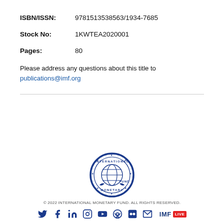ISBN/ISSN: 9781513538563/1934-7685
Stock No: 1KWTEA2020001
Pages: 80
Please address any questions about this title to publications@imf.org
[Figure (logo): International Monetary Fund circular seal/logo in blue]
© 2022 INTERNATIONAL MONETARY FUND. ALL RIGHTS RESERVED.
[Figure (infographic): Social media icons row: Twitter, Facebook, LinkedIn, Instagram, YouTube, Podcast, Flickr, Email, and IMF LIVE badge]